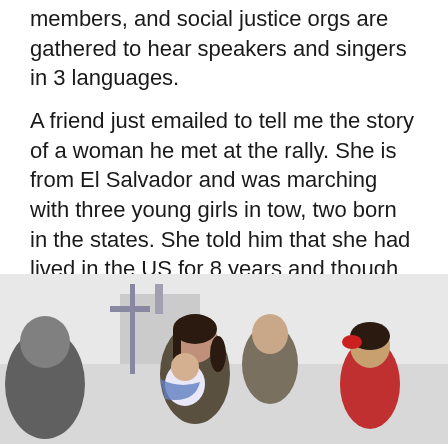members, and social justice orgs are gathered to hear speakers and singers in 3 languages.
A friend just emailed to tell me the story of a woman he met at the rally. She is from El Salvador and was marching with three young girls in tow, two born in the states. She told him that she had lived in the US for 8 years and though she heard about the rally on Spanish language TV and decided to come out “para la lucha”.
I love stories like that.
[Figure (photo): Outdoor photograph of a woman with dark hair in a ponytail holding a young child dressed in white/blue, with another child with a red bow visible on the right, and a man in the background, taken at a rally or march.]